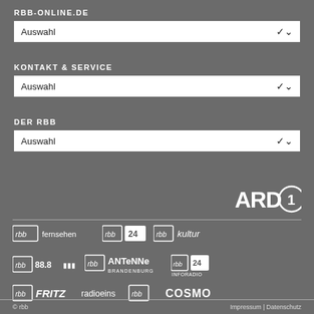RBB-ONLINE.DE
Auswahl (dropdown)
KONTAKT & SERVICE
Auswahl (dropdown)
DER RBB
Auswahl (dropdown)
[Figure (logo): ARD logo — white ARD text with stylized '1' in a circle]
[Figure (logo): Row of rbb channel logos: rbb fernsehen, rbb|24, rbb kultur]
[Figure (logo): Row of rbb radio logos: rbb 88.8, rbb Antenne Brandenburg, rbb|24 Inforadio]
[Figure (logo): Row of rbb logos: rbb Fritz, radioeins rbb, COSMO]
© rbb    Impressum | Datenschutz